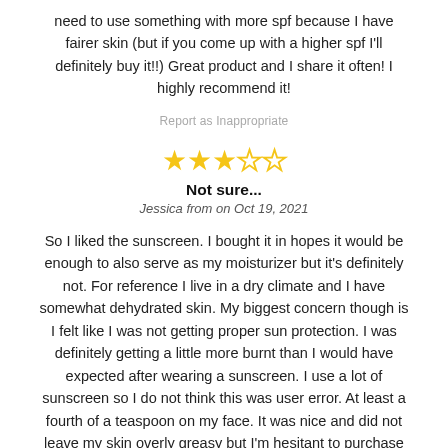need to use something with more spf because I have fairer skin (but if you come up with a higher spf I'll definitely buy it!!) Great product and I share it often! I highly recommend it!
Report as Inappropriate
[Figure (other): 3 out of 5 stars rating (3 filled stars, 2 empty stars)]
Not sure...
Jessica from on Oct 19, 2021
So I liked the sunscreen. I bought it in hopes it would be enough to also serve as my moisturizer but it's definitely not. For reference I live in a dry climate and I have somewhat dehydrated skin. My biggest concern though is I felt like I was not getting proper sun protection. I was definitely getting a little more burnt than I would have expected after wearing a sunscreen. I use a lot of sunscreen so I do not think this was user error. At least a fourth of a teaspoon on my face. It was nice and did not leave my skin overly greasy but I'm hesitant to purchase again.